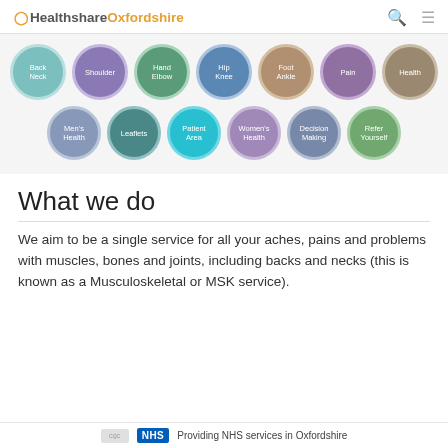HealthshareOxfordshire — navigation header with search and menu icons
[Figure (infographic): Two rows of colored navigation circles: Row 1: Back/Neck (teal), Shoulder (purple), Hand/Elbow (green), Hip/Knee (blue), Foot/Ankle (tan), Pain (purple), Health (khaki). Row 2: Men's Health (blue-grey), Leaflets (dark teal), Patient Area (cyan, highlighted), Women's Health (lilac), Decision Making (slate), Refer Yourself (light green).]
What we do
We aim to be a single service for all your aches, pains and problems with muscles, bones and joints, including backs and necks (this is known as a Musculoskeletal or MSK service).
CQC   NHS   Providing NHS services in Oxfordshire